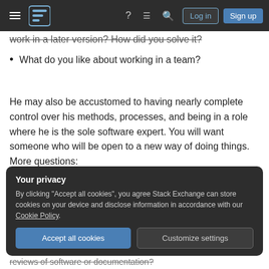Stack Exchange navigation bar with hamburger menu, logo, help, chat, search icons, Log in and Sign up buttons
work in a later version? How did you solve it? (strikethrough)
What do you like about working in a team?
He may also be accustomed to having nearly complete control over his methods, processes, and being in a role where he is the sole software expert. You will want someone who will be open to a new way of doing things. More questions:
Tell me about a time you used or helped create a coding standard?
Your privacy
By clicking "Accept all cookies", you agree Stack Exchange can store cookies on your device and disclose information in accordance with our Cookie Policy.
reviews of software or documentation? (strikethrough, peeking at bottom)